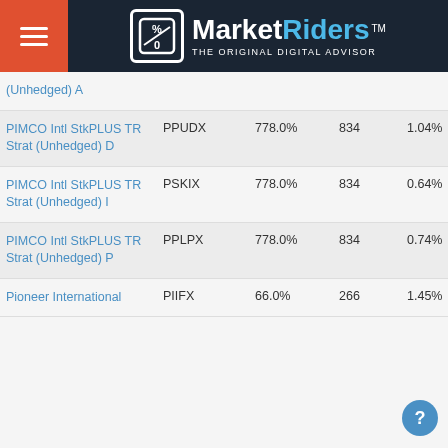MarketRiders — THE ORIGINAL DIGITAL ADVISOR
| Fund Name | Ticker | Return | Days | Expense |
| --- | --- | --- | --- | --- |
| (Unhedged) A |  |  |  |  |
| PIMCO Intl StkPLUS TR Strat (Unhedged) D | PPUDX | 778.0% | 834 | 1.04% |
| PIMCO Intl StkPLUS TR Strat (Unhedged) I | PSKIX | 778.0% | 834 | 0.64% |
| PIMCO Intl StkPLUS TR Strat (Unhedged) P | PPLPX | 778.0% | 834 | 0.74% |
| Pioneer International | PIIFX | 66.0% | 266 | 1.45% |